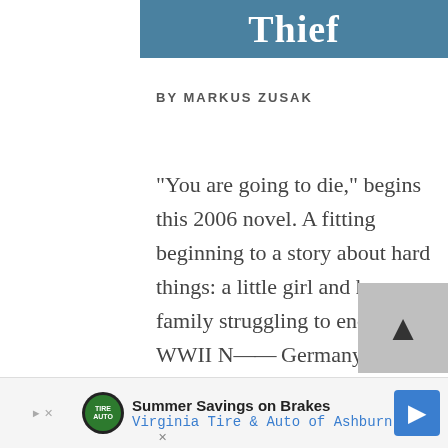Thief
BY MARKUS ZUSAK
"You are going to die," begins this 2006 novel. A fitting beginning to a story about hard things: a little girl and her family struggling to endure in WWII Nazi Germany. The characters are
[Figure (other): Advertisement banner: Summer Savings on Brakes, Virginia Tire & Auto of Ashburn, with logo and arrow icon]